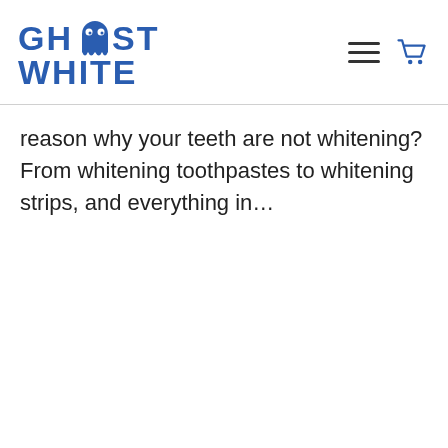[Figure (logo): Ghost White brand logo with ghost icon and blue text reading GHOST WHITE]
reason why your teeth are not whitening? From whitening toothpastes to whitening strips, and everything in...